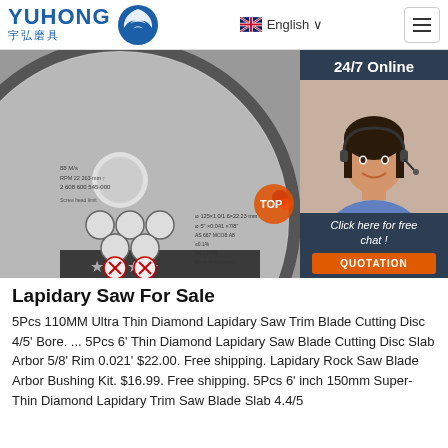YUHONG 宇弘磨具 | English | Menu
[Figure (photo): Close-up photo of a cutting disc/grinding wheel with safety symbols and certification marks, overlaid with a 24/7 Online customer service chat panel showing a smiling woman with a headset]
Lapidary Saw For Sale
5Pcs 110MM Ultra Thin Diamond Lapidary Saw Trim Blade Cutting Disc 4/5' Bore. ... 5Pcs 6' Thin Diamond Lapidary Saw Blade Cutting Disc Slab Arbor 5/8' Rim 0.021' $22.00. Free shipping. Lapidary Rock Saw Blade Arbor Bushing Kit. $16.99. Free shipping. 5Pcs 6' inch 150mm Super-Thin Diamond Lapidary Trim Saw Blade Slab 4.4/5